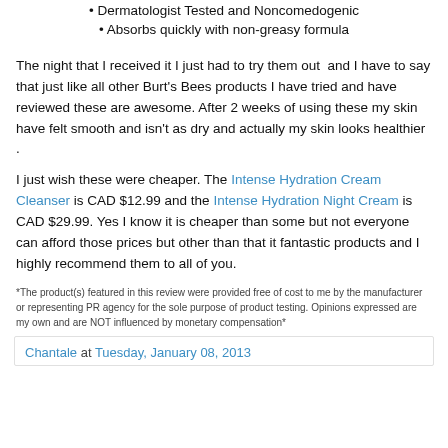• Dermatologist Tested and Noncomedogenic
• Absorbs quickly with non-greasy formula
The night that I received it I just had to try them out  and I have to say that just like all other Burt's Bees products I have tried and have reviewed these are awesome. After 2 weeks of using these my skin have felt smooth and isn't as dry and actually my skin looks healthier .
I just wish these were cheaper. The Intense Hydration Cream Cleanser is CAD $12.99 and the Intense Hydration Night Cream is CAD $29.99. Yes I know it is cheaper than some but not everyone can afford those prices but other than that it fantastic products and I highly recommend them to all of you.
*The product(s) featured in this review were provided free of cost to me by the manufacturer or representing PR agency for the sole purpose of product testing. Opinions expressed are my own and are NOT influenced by monetary compensation*
Chantale at Tuesday, January 08, 2013